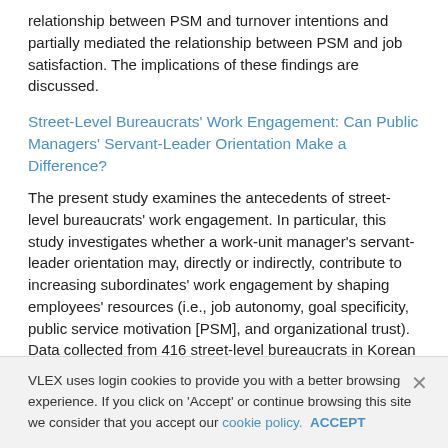relationship between PSM and turnover intentions and partially mediated the relationship between PSM and job satisfaction. The implications of these findings are discussed.
Street-Level Bureaucrats' Work Engagement: Can Public Managers' Servant-Leader Orientation Make a Difference?
The present study examines the antecedents of street-level bureaucrats' work engagement. In particular, this study investigates whether a work-unit manager's servant-leader orientation may, directly or indirectly, contribute to increasing subordinates' work engagement by shaping employees' resources (i.e., job autonomy, goal specificity, public service motivation [PSM], and organizational trust). Data collected from 416 street-level bureaucrats in Korean local government agencies and the analyzed results show that work-unit managers' servant-leader orientation indirectly influence employees' work engagement by developing employees' positive perceptions and attitudes.
VLEX uses login cookies to provide you with a better browsing experience. If you click on 'Accept' or continue browsing this site we consider that you accept our cookie policy. ACCEPT